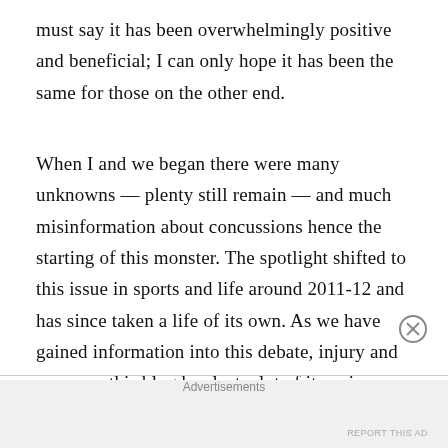must say it has been overwhelmingly positive and beneficial; I can only hope it has been the same for those on the other end.
When I and we began there were many unknowns — plenty still remain — and much misinformation about concussions hence the starting of this monster. The spotlight shifted to this issue in sports and life around 2011-12 and has since taken a life of its own. As we have gained information into this debate, injury and recovery this blog has lost a lot of its unique luster, to me as the sole provider of content. Over the time of this blog there has been great interest into my insight and ability to communicate which has spawned many opportunities for me, for which I am
Advertisements